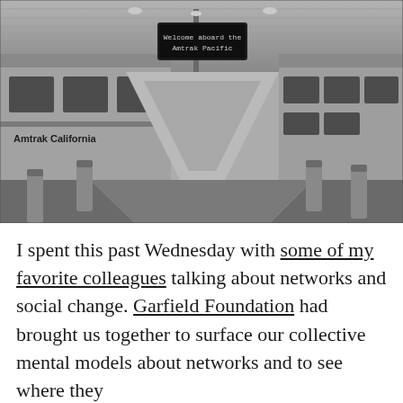[Figure (photo): Black and white photograph of a train platform with two trains on either side. The left train reads 'Amtrak California' and there is an overhead digital sign reading 'Welcome aboard the Amtrak Pacific'. The platform recedes toward the background with bollards on both sides.]
I spent this past Wednesday with some of my favorite colleagues talking about networks and social change. Garfield Foundation had brought us together to surface our collective mental models about networks and to see where they overlap and where they diverge. The d...